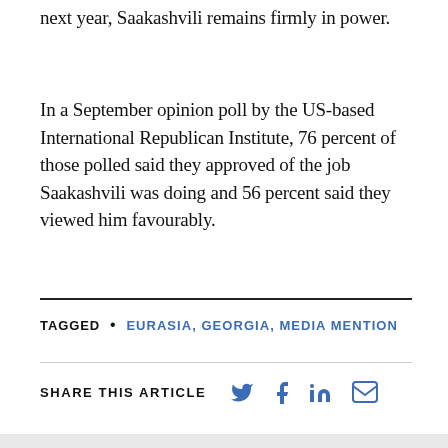next year, Saakashvili remains firmly in power.
In a September opinion poll by the US-based International Republican Institute, 76 percent of those polled said they approved of the job Saakashvili was doing and 56 percent said they viewed him favourably.
TAGGED • EURASIA, GEORGIA, MEDIA MENTION
SHARE THIS ARTICLE